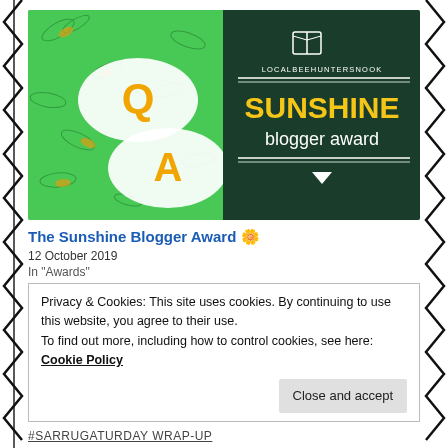[Figure (illustration): Sunshine Blogger Award banner image with green background, illustrated bees/insects pattern, two speech bubbles with Q and A in orange letters on the left, and on the right side a dark green panel with an open book icon, text LOCALBEEHUNTERSNOOK, two horizontal lines, SUNSHINE in bold yellow, blogger award in white.]
The Sunshine Blogger Award 🌼
12 October 2019
In "Awards"
Privacy & Cookies: This site uses cookies. By continuing to use this website, you agree to their use.
To find out more, including how to control cookies, see here: Cookie Policy
Close and accept
#SARRUGATURDAY WRAP-UP